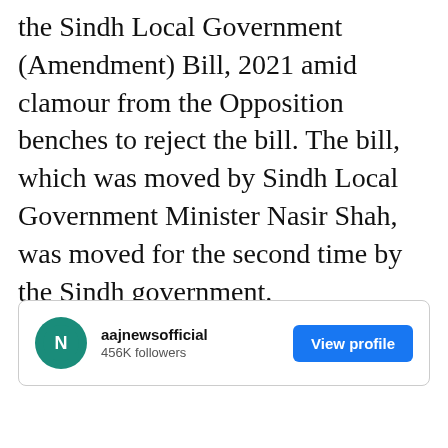the Sindh Local Government (Amendment) Bill, 2021 amid clamour from the Opposition benches to reject the bill. The bill, which was moved by Sindh Local Government Minister Nasir Shah, was moved for the second time by the Sindh government.
[Figure (screenshot): Social media profile card for aajnewsofficial with 456K followers and a 'View profile' button]